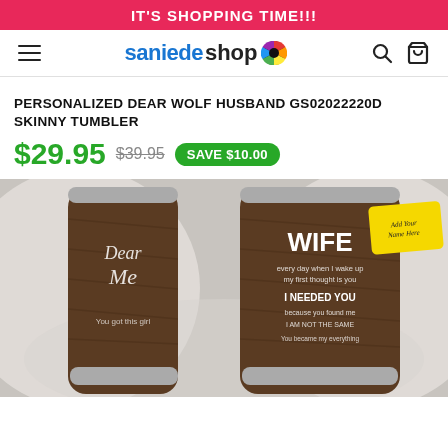IT'S SHOPPING TIME!!!
[Figure (logo): Saniede Shop logo with colorful globe icon]
PERSONALIZED DEAR WOLF HUSBAND GS02022220D SKINNY TUMBLER
$29.95  $39.95  SAVE $10.00
[Figure (photo): Two skinny tumblers with wolf/husband design text, one showing 'Dear Me' script and one showing 'WIFE' with personalized text. Yellow sticker on right tumbler reads 'Add Your Name Here'. Tumblers are on a white fluffy background.]